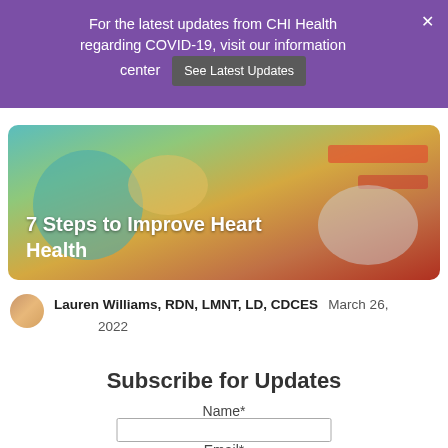For the latest updates from CHI Health regarding COVID-19, visit our information center  See Latest Updates
[Figure (photo): Article header image showing healthy foods and medical items with the title '7 Steps to Improve Heart Health' overlaid in white text]
Lauren Williams, RDN, LMNT, LD, CDCES  March 26, 2022
Subscribe for Updates
Name*
Email*